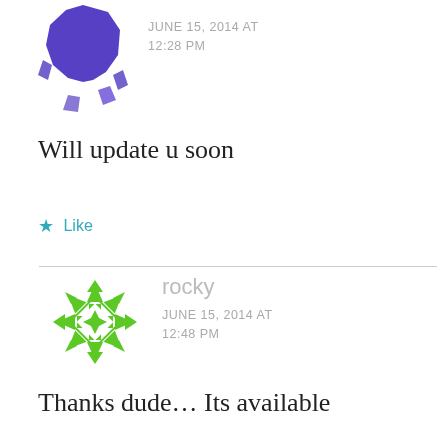[Figure (illustration): Purple/dark blue avatar icon (geometric puzzle-like design) for first commenter]
JUNE 15, 2014 AT 12:28 PM
Will update u soon
Like
[Figure (illustration): Green geometric snowflake/flower avatar icon for user 'rocky']
rocky
JUNE 15, 2014 AT 12:48 PM
Thanks dude… Its available now. Placed an order successfully.. Thanks once again..